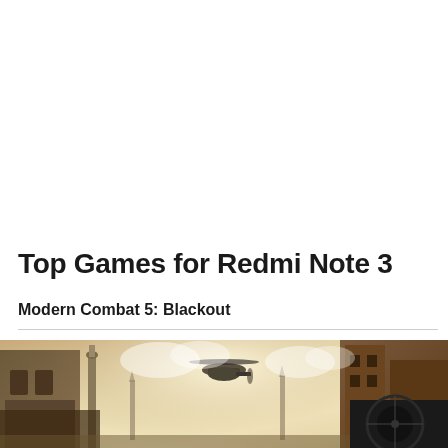Top Games for Redmi Note 3
Modern Combat 5: Blackout
[Figure (photo): Screenshot of Modern Combat 5: Blackout game showing a helicopter flying over a battlefield with Venice-like architecture and dramatic cloudy sky, with a sniper scope in the foreground right]